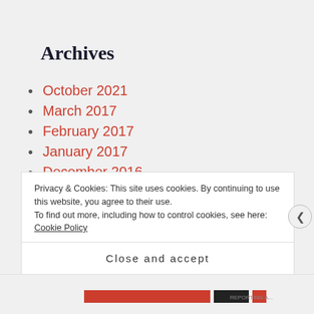Archives
October 2021
March 2017
February 2017
January 2017
December 2016
November 2016
October 2016
August 2016
Privacy & Cookies: This site uses cookies. By continuing to use this website, you agree to their use.
To find out more, including how to control cookies, see here: Cookie Policy
Close and accept